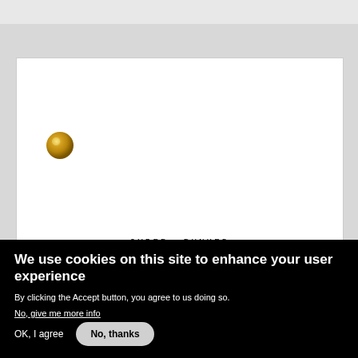[Figure (screenshot): White card with a gold metallic circle/button in the upper-left area and the text 'CYBER PUNKED' underlined at the bottom center, displayed on a gray background]
CYBER PUNKED
We use cookies on this site to enhance your user experience
By clicking the Accept button, you agree to us doing so.
No, give me more info
OK, I agree
No, thanks